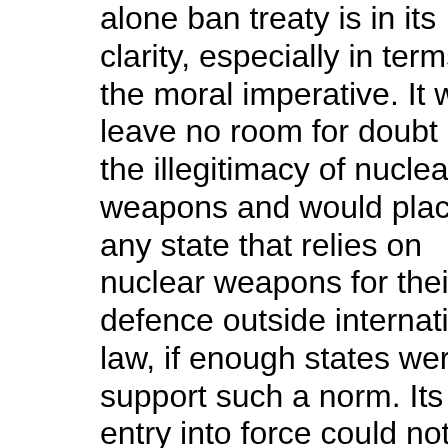alone ban treaty is in its clarity, especially in terms of the moral imperative. It would leave no room for doubt as to the illegitimacy of nuclear weapons and would place any state that relies on nuclear weapons for their defence outside international law, if enough states were to support such a norm. Its entry into force could not be held hostage by nuclear-armed states reticence to ratify, as the CTBT has been.